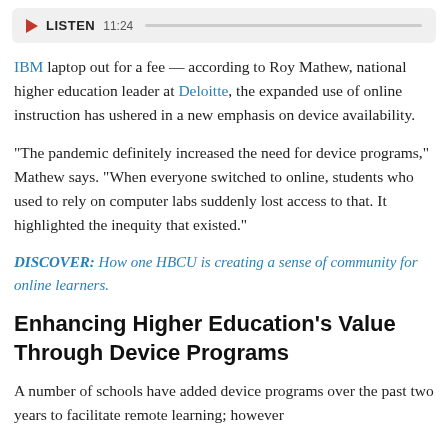[Figure (other): Audio player bar with play button, LISTEN label, time 11:24, and progress bar]
IBM laptop out for a fee — according to Roy Mathew, national higher education leader at Deloitte, the expanded use of online instruction has ushered in a new emphasis on device availability.
"The pandemic definitely increased the need for device programs," Mathew says. "When everyone switched to online, students who used to rely on computer labs suddenly lost access to that. It highlighted the inequity that existed."
DISCOVER: How one HBCU is creating a sense of community for online learners.
Enhancing Higher Education's Value Through Device Programs
A number of schools have added device programs over the past two years to facilitate remote learning; however